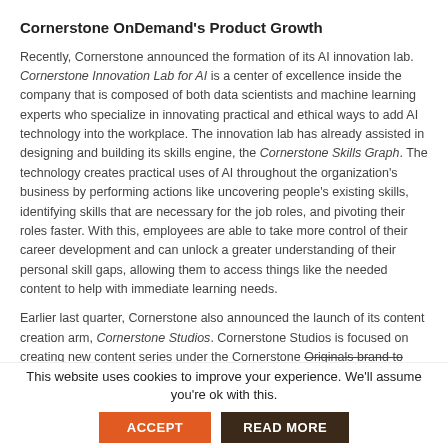Cornerstone OnDemand's Product Growth
Recently, Cornerstone announced the formation of its AI innovation lab. Cornerstone Innovation Lab for AI is a center of excellence inside the company that is composed of both data scientists and machine learning experts who specialize in innovating practical and ethical ways to add AI technology into the workplace. The innovation lab has already assisted in designing and building its skills engine, the Cornerstone Skills Graph. The technology creates practical uses of AI throughout the organization's business by performing actions like uncovering people's existing skills, identifying skills that are necessary for the job roles, and pivoting their roles faster. With this, employees are able to take more control of their career development and can unlock a greater understanding of their personal skill gaps, allowing them to access things like the needed content to help with immediate learning needs.
Earlier last quarter, Cornerstone also announced the launch of its content creation arm, Cornerstone Studios. Cornerstone Studios is focused on creating new content series under the Cornerstone Originals brand to help organizations and their people prepare for
This website uses cookies to improve your experience. We'll assume you're ok with this.